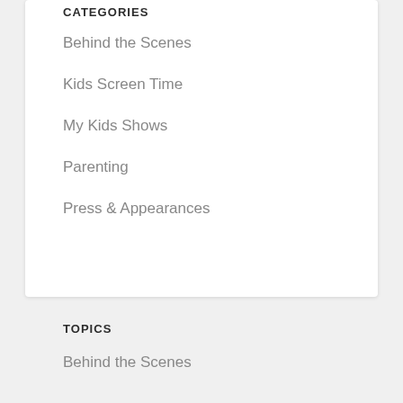CATEGORIES
Behind the Scenes
Kids Screen Time
My Kids Shows
Parenting
Press & Appearances
TOPICS
Behind the Scenes